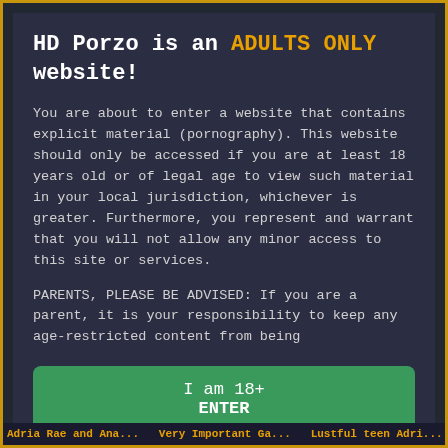HD Porzo is an ADULTS ONLY website!
You are about to enter a website that contains explicit material (pornography). This website should only be accessed if you are at least 18 years old or of legal age to view such material in your local jurisdiction, whichever is greater. Furthermore, you represent and warrant that you will not allow any minor access to this site or services.
PARENTS, PLEASE BE ADVISED: If you are a parent, it is your responsibility to keep any age-restricted content from being
I am 18+
ENTER
When accessing this site you agree to our terms of use.
Adria Rae and Ana...   Very Important Ga...   Lustful teen Adri...